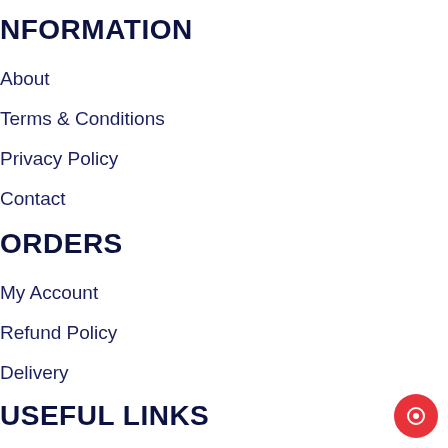INFORMATION
About
Terms & Conditions
Privacy Policy
Contact
ORDERS
My Account
Refund Policy
Delivery
USEFUL LINKS
Buy by Brand